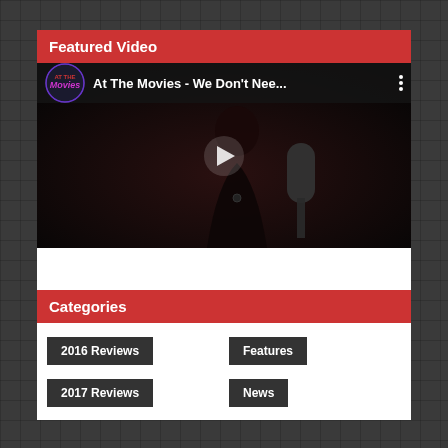Featured Video
[Figure (screenshot): YouTube video player thumbnail showing 'At The Movies - We Don't Nee...' with a dark image of a singer at a microphone, with the At The Movies channel logo, video title, three-dot menu, and a play button overlay]
Categories
2016 Reviews
Features
2017 Reviews
News